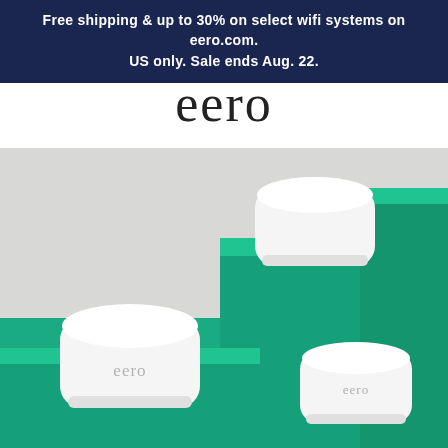Free shipping & up to 30% on select wifi systems on eero.com. US only. Sale ends Aug. 22.
eero
[Figure (photo): Three white eero wifi router devices displayed on stacked teal/green geometric block steps against a light gray background. Each device is a compact, rounded square white unit with the 'eero' logo on it. One device is prominently in the foreground left on a low step, one in the middle-back area on a taller step, and one in the foreground right.]